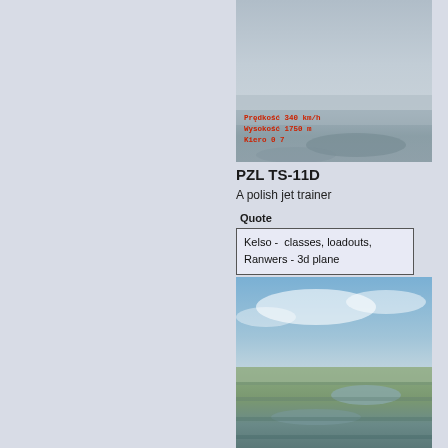[Figure (screenshot): Aerial flight simulator screenshot showing hazy sky and ground from above, with red text overlay reading 'Prędkość 340 km/h', 'Wysokość 1750 m', 'Kiero 0 7']
PZL TS-11D
A polish jet trainer
Quote
| Kelso -  classes, loadouts, |
| Ranwers - 3d plane |
[Figure (screenshot): Aerial flight simulator screenshot showing blue sky and green/brown ground/water landscape below, motion-blurred]